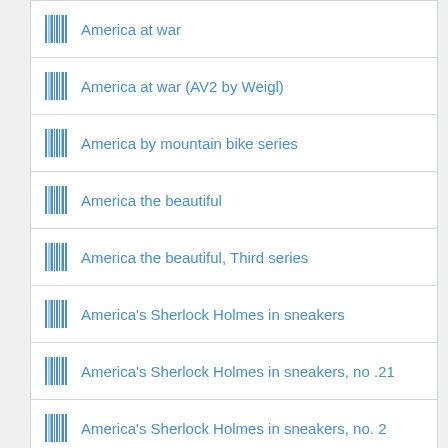America at war
America at war (AV2 by Weigl)
America by mountain bike series
America the beautiful
America the beautiful, Third series
America's Sherlock Holmes in sneakers
America's Sherlock Holmes in sneakers, no .21
America's Sherlock Holmes in sneakers, no. 2
America's Sherlock Holmes in sneakers, no. 23
America's Sherlock Holmes in sneakers, no. 24
America's Sherlock Holmes in sneakers, no. 26